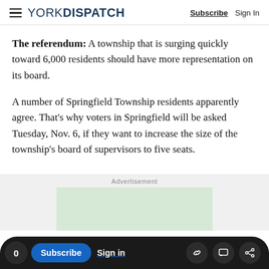YORK DISPATCH | Subscribe | Sign In
The referendum: A township that is surging quickly toward 6,000 residents should have more representation on its board.
A number of Springfield Township residents apparently agree. That’s why voters in Springfield will be asked Tuesday, Nov. 6, if they want to increase the size of the township's board of supervisors to five seats.
Advertisement
[Figure (other): Advertisement placeholder box, light green background]
0 | Subscribe | Sign in | [link icon] [comment icon] [share icon]